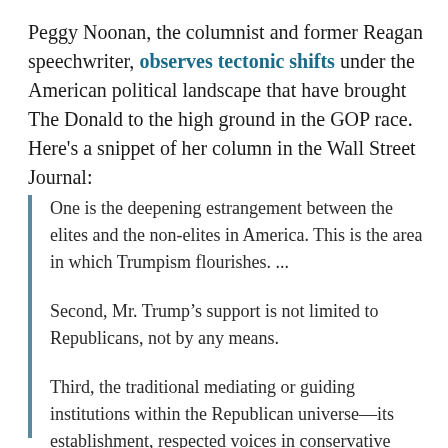Peggy Noonan, the columnist and former Reagan speechwriter, observes tectonic shifts under the American political landscape that have brought The Donald to the high ground in the GOP race. Here's a snippet of her column in the Wall Street Journal:
One is the deepening estrangement between the elites and the non-elites in America. This is the area in which Trumpism flourishes. ...
Second, Mr. Trump’s support is not limited to Republicans, not by any means.
Third, the traditional mediating or guiding institutions within the Republican universe—its establishment, respected voices in conservative media, sober-minded state party officials—have little to no impact on Mr. Trump’s rise.